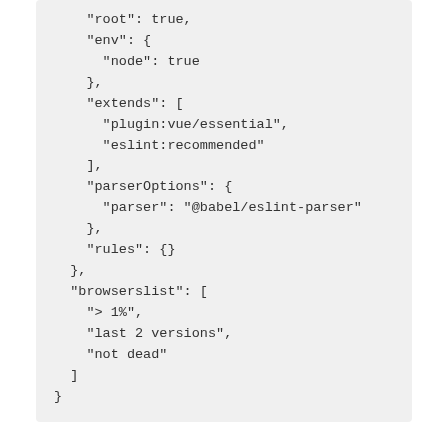[Figure (screenshot): Code block showing JSON configuration with root, env, extends, parserOptions, rules, and browserslist fields]
How to import library